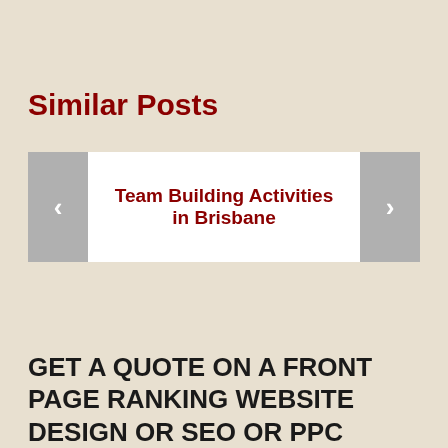Similar Posts
[Figure (screenshot): A carousel widget showing a card with the title 'Team Building Activities in Brisbane', with left and right navigation arrows on grey backgrounds.]
GET A QUOTE ON A FRONT PAGE RANKING WEBSITE DESIGN OR SEO OR PPC